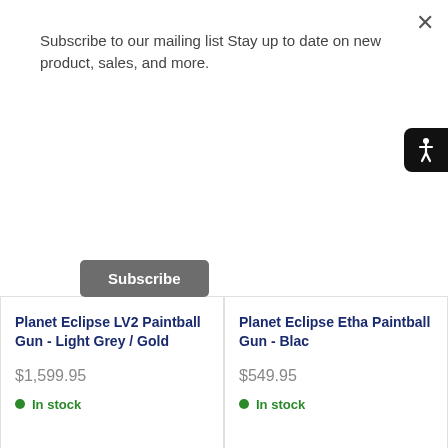Subscribe to our mailing list Stay up to date on new product, sales, and more.
Subscribe
Planet Eclipse LV2 Paintball Gun - Light Grey / Gold
$1,599.95
In stock
Planet Eclipse Etha Paintball Gun - Blac
$549.95
In stock
[Figure (illustration): Box/package icon outline]
Free 48 State Delivery
Free delivery within Continental US